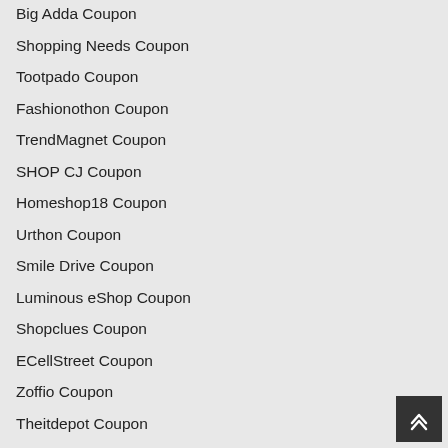Big Adda Coupon
Shopping Needs Coupon
Tootpado Coupon
Fashionothon Coupon
TrendMagnet Coupon
SHOP CJ Coupon
Homeshop18 Coupon
Urthon Coupon
Smile Drive Coupon
Luminous eShop Coupon
Shopclues Coupon
ECellStreet Coupon
Zoffio Coupon
Theitdepot Coupon
AskMeBazaar Coupon
EMI Bazaar Coupon
Landmark Coupon
Audio Universe Coupon
Amazon India Coupon
OrderVenue Coupon